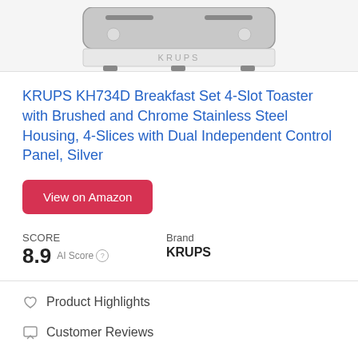[Figure (photo): Product image of KRUPS KH734D toaster, showing the top portion with KRUPS branding on a light gray background]
KRUPS KH734D Breakfast Set 4-Slot Toaster with Brushed and Chrome Stainless Steel Housing, 4-Slices with Dual Independent Control Panel, Silver
View on Amazon
SCORE
8.9 AI Score
Brand
KRUPS
Product Highlights
Customer Reviews